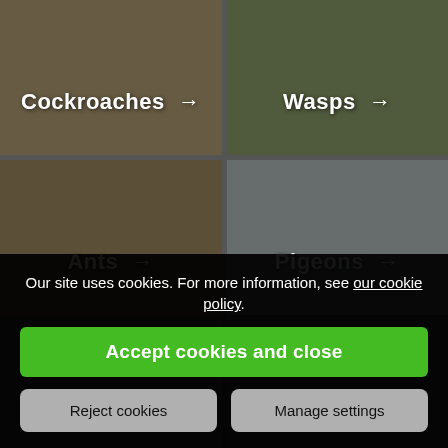[Figure (photo): Cockroaches on a surface, dark background]
[Figure (photo): Wasp on pink flower with blurred background]
[Figure (photo): Ants swarming on a surface near a wooden object]
[Figure (photo): Pigeons in flight against a green background]
[Figure (photo): Moths image partially obscured]
[Figure (photo): Moles image partially obscured]
Our site uses cookies. For more information, see our cookie policy.
Accept cookies and close
Reject cookies
Manage settings